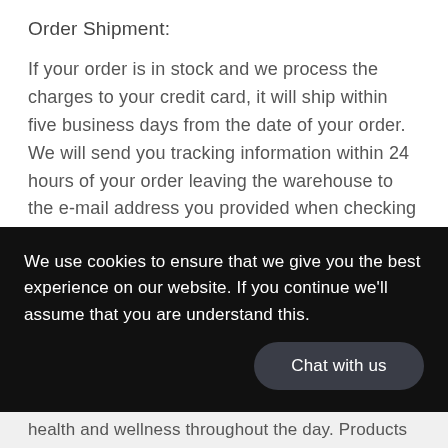Order Shipment:
If your order is in stock and we process the charges to your credit card, it will ship within five business days from the date of your order.  We will send you tracking information within 24 hours of your order leaving the warehouse to the e-mail address you provided when checking out.  If you do not receive tracking information from us within six business days of your order, feel free to follow up with us at orders@ergowayshop.com.
We use cookies to ensure that we give you the best experience on our website. If you continue we'll assume that you are understand this.
Chat with us
health and wellness throughout the day. Products